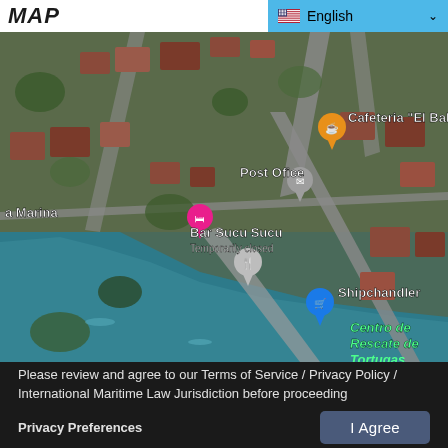MAP
[Figure (map): Satellite map showing coastal area with landmarks including Bar Sucu Sucu (Temporarily closed), Post Ofice, Cafeteria El Bala, a Marina, Shipchandler, and Centro de Rescate de Tortugas Marinas. Map includes location pins in orange, gray, pink, and blue.]
Please review and agree to our Terms of Service / Privacy Policy / International Maritime Law Jurisdiction before proceeding
Privacy Preferences
I Agree